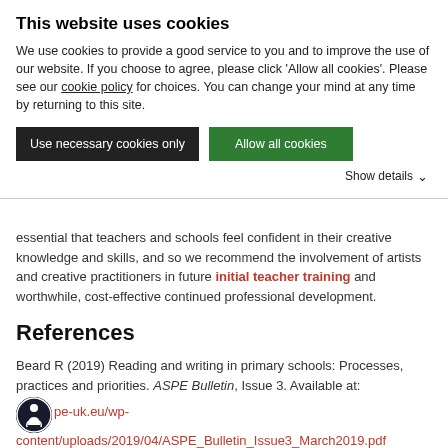This website uses cookies
We use cookies to provide a good service to you and to improve the use of our website. If you choose to agree, please click 'Allow all cookies'. Please see our cookie policy for choices. You can change your mind at any time by returning to this site.
Use necessary cookies only | Allow all cookies
Show details
essential that teachers and schools feel confident in their creative knowledge and skills, and so we recommend the involvement of artists and creative practitioners in future initial teacher training and worthwhile, cost-effective continued professional development.
References
Beard R (2019) Reading and writing in primary schools: Processes, practices and priorities. ASPE Bulletin, Issue 3. Available at: www.aspe-uk.eu/wp-content/uploads/2019/04/ASPE_Bulletin_Issue3_March2019.pdf (accessed 22 July 2019).